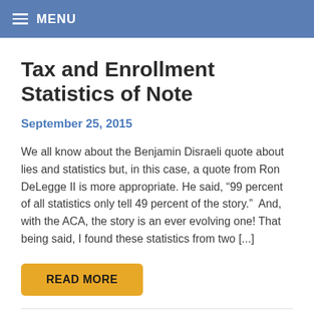MENU
Tax and Enrollment Statistics of Note
September 25, 2015
We all know about the Benjamin Disraeli quote about lies and statistics but, in this case, a quote from Ron DeLegge II is more appropriate. He said, “99 percent of all statistics only tell 49 percent of the story.”  And, with the ACA, the story is an ever evolving one! That being said, I found these statistics from two [...]
READ MORE